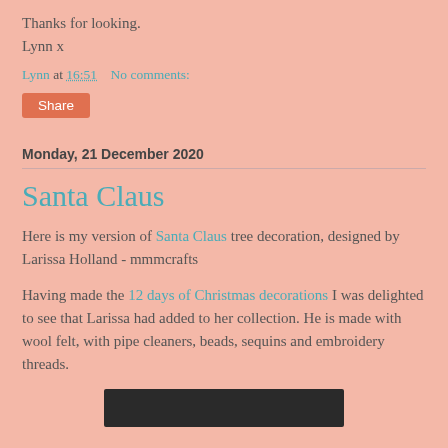Thanks for looking.
Lynn x
Lynn at 16:51    No comments:
Share
Monday, 21 December 2020
Santa Claus
Here is my version of Santa Claus tree decoration, designed by Larissa Holland - mmmcrafts
Having made the 12 days of Christmas decorations I was delighted to see that Larissa had added to her collection. He is made with wool felt, with pipe cleaners, beads, sequins and embroidery threads.
[Figure (photo): Dark photo strip at bottom of page showing Santa Claus decoration]